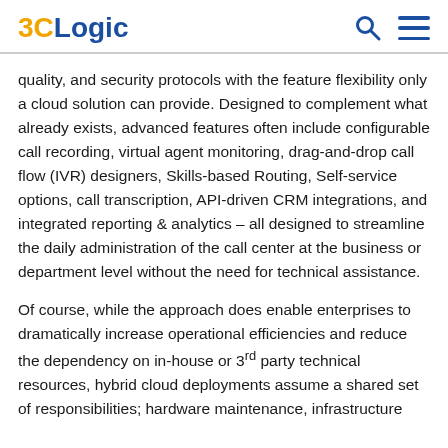3CLogic
quality, and security protocols with the feature flexibility only a cloud solution can provide. Designed to complement what already exists, advanced features often include configurable call recording, virtual agent monitoring, drag-and-drop call flow (IVR) designers, Skills-based Routing, Self-service options, call transcription, API-driven CRM integrations, and integrated reporting & analytics – all designed to streamline the daily administration of the call center at the business or department level without the need for technical assistance.
Of course, while the approach does enable enterprises to dramatically increase operational efficiencies and reduce the dependency on in-house or 3rd party technical resources, hybrid cloud deployments assume a shared set of responsibilities; hardware maintenance, infrastructure